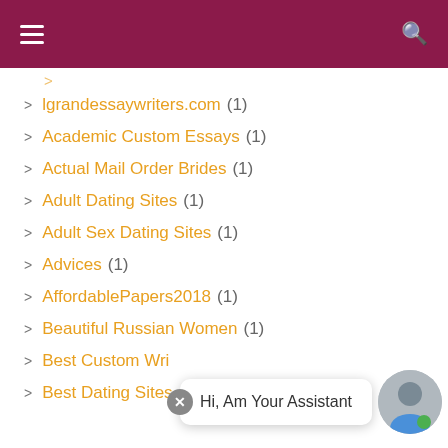≡  [search icon]
lgrandessaywriters.com (1)
Academic Custom Essays (1)
Actual Mail Order Brides (1)
Adult Dating Sites (1)
Adult Sex Dating Sites (1)
Advices (1)
AffordablePapers2018 (1)
Beautiful Russian Women (1)
Best Custom Wri... (1)
Best Dating Sites (1)